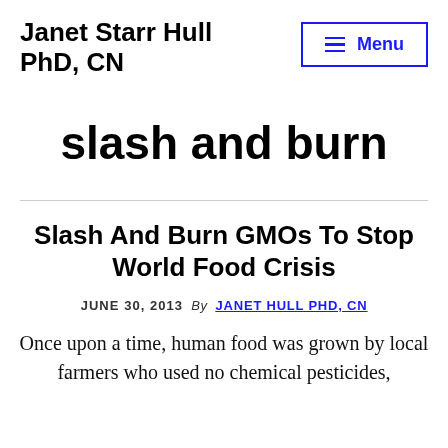Janet Starr Hull PhD, CN
slash and burn
Slash And Burn GMOs To Stop World Food Crisis
JUNE 30, 2013  By  JANET HULL PHD, CN
Once upon a time, human food was grown by local farmers who used no chemical pesticides,